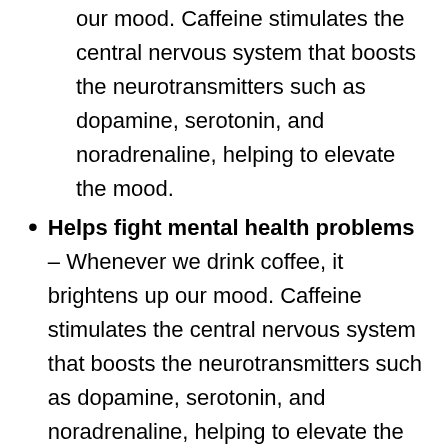our mood. Caffeine stimulates the central nervous system that boosts the neurotransmitters such as dopamine, serotonin, and noradrenaline, helping to elevate the mood.
Helps fight mental health problems – Whenever we drink coffee, it brightens up our mood. Caffeine stimulates the central nervous system that boosts the neurotransmitters such as dopamine, serotonin, and noradrenaline, helping to elevate the mood.